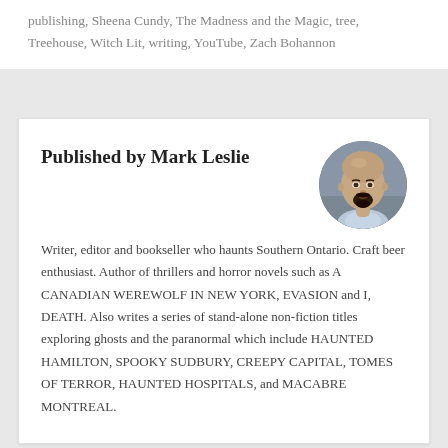publishing, Sheena Cundy, The Madness and the Magic, tree, Treehouse, Witch Lit, writing, YouTube, Zach Bohannon
Published by Mark Leslie
[Figure (photo): Circular portrait photo of Mark Leslie, a bald man with a dark goatee, smiling, wearing a light blue collared shirt, photographed against a blurred dark background.]
Writer, editor and bookseller who haunts Southern Ontario. Craft beer enthusiast. Author of thrillers and horror novels such as A CANADIAN WEREWOLF IN NEW YORK, EVASION and I, DEATH. Also writes a series of stand-alone non-fiction titles exploring ghosts and the paranormal which include HAUNTED HAMILTON, SPOOKY SUDBURY, CREEPY CAPITAL, TOMES OF TERROR, HAUNTED HOSPITALS, and MACABRE MONTREAL.